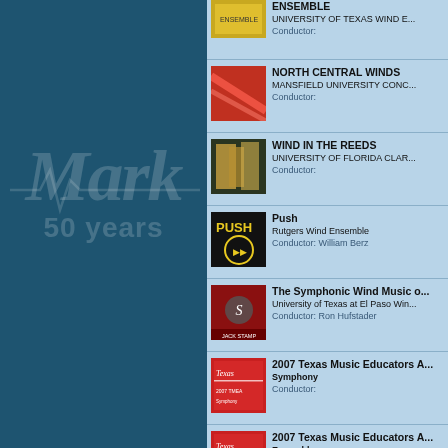[Figure (illustration): Mark Records 50 Years logo watermark on dark teal background]
ENSEMBLE / UNIVERSITY OF TEXAS WIND E... / Conductor:
NORTH CENTRAL WINDS / MANSFIELD UNIVERSITY CONC... / Conductor:
WIND IN THE REEDS / UNIVERSITY OF FLORIDA CLAR... / Conductor:
Push / Rutgers Wind Ensemble / Conductor: William Berz
The Symphonic Wind Music o... / University of Texas at El Paso Win... / Conductor: Ron Hufstader
2007 Texas Music Educators A... Symphony / Conductor:
2007 Texas Music Educators A... Ensemble / Conductor:
2007 Texas Music Educators...